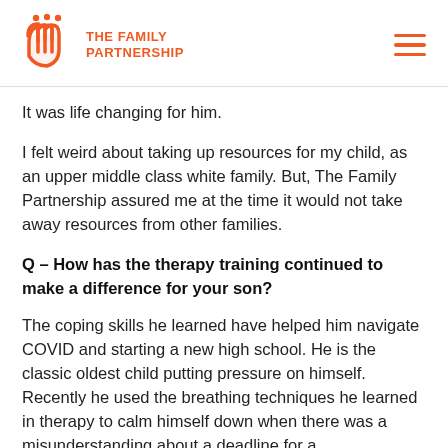THE FAMILY PARTNERSHIP
It was life changing for him.
I felt weird about taking up resources for my child, as an upper middle class white family. But, The Family Partnership assured me at the time it would not take away resources from other families.
Q – How has the therapy training continued to make a difference for your son?
The coping skills he learned have helped him navigate COVID and starting a new high school. He is the classic oldest child putting pressure on himself. Recently he used the breathing techniques he learned in therapy to calm himself down when there was a misunderstanding about a deadline for a